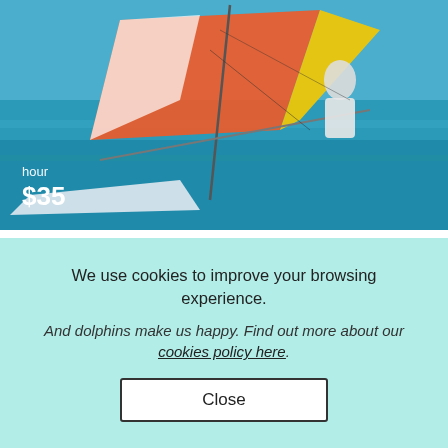[Figure (photo): Person sailing a catamaran on turquoise water, colorful sail, person leaning out]
hour
$35
Porto-Vecchio > Sailing
2 GUESTS
Rent Wave Cat Beach Catamaran in Porto-Vecchio, Corse
[Figure (photo): Partial view of catamaran sail and water]
We use cookies to improve your browsing experience. And dolphins make us happy. Find out more about our cookies policy here.
Close